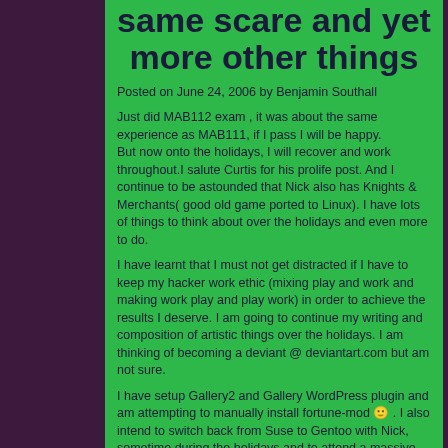same scare and yet more other things
Posted on June 24, 2006 by Benjamin Southall
Just did MAB112 exam , it was about the same experience as MAB111, if I pass I will be happy.
But now onto the holidays, I will recover and work throughout.I salute Curtis for his prolife post. And I continue to be astounded that Nick also has Knights & Merchants( good old game ported to Linux). I have lots of things to think about over the holidays and even more to do.
I have learnt that I must not get distracted if I have to keep my hacker work ethic (mixing play and work and making work play and play work) in order to achieve the results I deserve. I am going to continue my writing and composition of artistic things over the holidays. I am thinking of becoming a deviant @ deviantart.com but am not sure.
I have setup Gallery2 and Gallery WordPress plugin and am attempting to manually install fortune-mod 🙂 . I also intend to switch back from Suse to Gentoo with Nick, sometime during the holidays and to attend a massive LAN party (That Curtis is hosting) as a resident Linux guru and troublemaker.
I have also realised that importance of fluid learning and doing practice problems in order to cement required knowledege, ironically enough by not doing enough of this (not just in education, in life as well). This amongst some small other things is my Semester 2 resolution.(provided I make it)I need to get my hands on the 12th Lemony Snicket The Series of Unfortunate Events book, so I can read it (Just found and read The Grim grotto).
Learn from your mistakes, else what is the point in making them